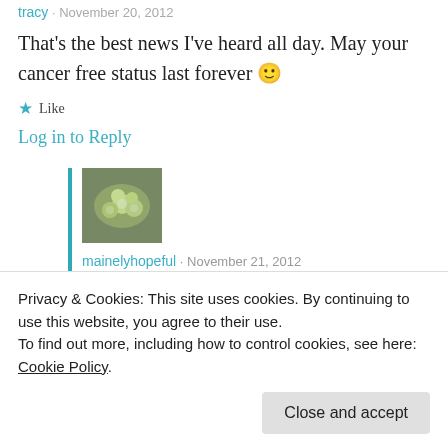tracy · November 20, 2012
That's the best news I've heard all day. May your cancer free status last forever 🙂
Like
Log in to Reply
[Figure (photo): Avatar image of mainelyhopeful, showing a green floral arrangement on a grey background]
mainelyhopeful · November 21, 2012
Thank you Tracy and I hope you are saying the same about yourself very soon
Privacy & Cookies: This site uses cookies. By continuing to use this website, you agree to their use. To find out more, including how to control cookies, see here: Cookie Policy